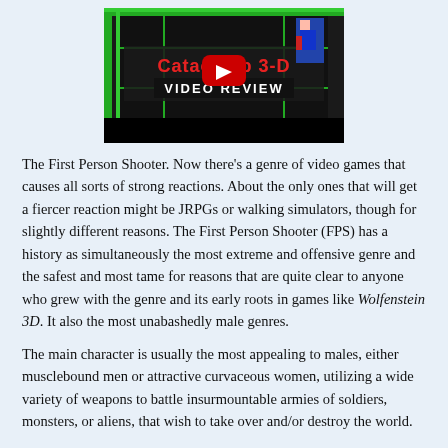[Figure (screenshot): YouTube video thumbnail for 'Catacomb 3-D Video Review' showing red dripping title text, a YouTube play button overlay, and pixel art game characters on a dark background.]
The First Person Shooter. Now there's a genre of video games that causes all sorts of strong reactions. About the only ones that will get a fiercer reaction might be JRPGs or walking simulators, though for slightly different reasons. The First Person Shooter (FPS) has a history as simultaneously the most extreme and offensive genre and the safest and most tame for reasons that are quite clear to anyone who grew with the genre and its early roots in games like Wolfenstein 3D. It also the most unabashedly male genres.
The main character is usually the most appealing to males, either musclebound men or attractive curvaceous women, utilizing a wide variety of weapons to battle insurmountable armies of soldiers, monsters, or aliens, that wish to take over and/or destroy the world.